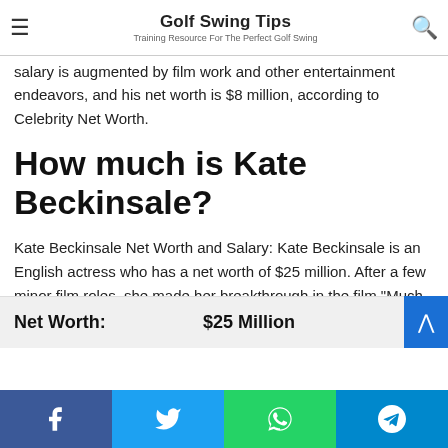Golf Swing Tips — Training Resource For The Perfect Golf Swing
salary is augmented by film work and other entertainment endeavors, and his net worth is $8 million, according to Celebrity Net Worth.
How much is Kate Beckinsale?
Kate Beckinsale Net Worth and Salary: Kate Beckinsale is an English actress who has a net worth of $25 million. After a few minor film roles, she made her breakthrough in the film "Much Ado About Nothing" in the early 90s. … Kate Beckinsale Net Worth.
| Net Worth: | $25 Million |
| --- | --- |